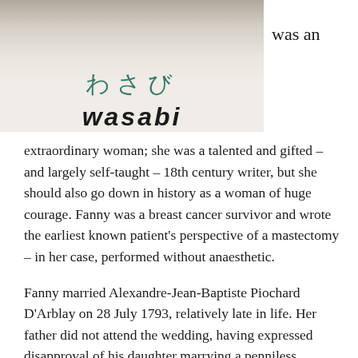[Figure (photo): A photo of a wasabi restaurant sign showing Japanese characters and 'wasabi' in bold italic letters, with a building facade visible above.]
was an
extraordinary woman; she was a talented and gifted – and largely self-taught – 18th century writer, but she should also go down in history as a woman of huge courage. Fanny was a breast cancer survivor and wrote the earliest known patient's perspective of a mastectomy – in her case, performed without anaesthetic.
Fanny married Alexandre-Jean-Baptiste Piochard D'Arblay on 28 July 1793, relatively late in life. Her father did not attend the wedding, having expressed disapproval of his daughter marrying a penniless foreigner. The couple remained happily married and had one son.
The...